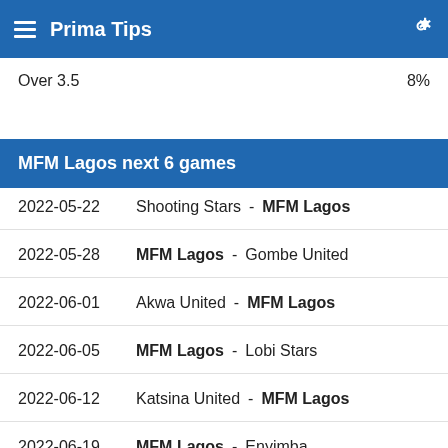Prima Tips
Over 3.5   8%
MFM Lagos next 6 games
2022-05-22   Shooting Stars - MFM Lagos
2022-05-28   MFM Lagos - Gombe United
2022-06-01   Akwa United - MFM Lagos
2022-06-05   MFM Lagos - Lobi Stars
2022-06-12   Katsina United - MFM Lagos
2022-06-19   MFM Lagos - Enyimba